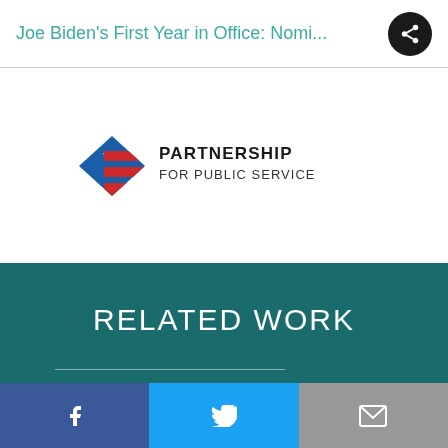Joe Biden's First Year in Office: Nomi...
[Figure (logo): Partnership for Public Service logo — diamond shape with stars and stripes on left, text on right]
RELATED WORK
REPORT
Facebook | Twitter | Email share buttons